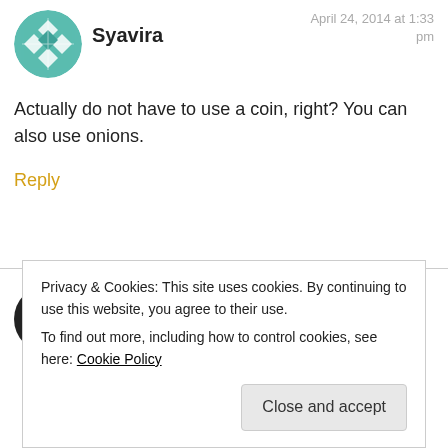[Figure (illustration): Teal/green geometric quilt-pattern avatar icon, circular crop]
Syavira
April 24, 2014 at 1:33 pm
Actually do not have to use a coin, right? You can also use onions.
Reply
[Figure (photo): Partially visible circular avatar with dark image, cropped at bottom of page]
Privacy & Cookies: This site uses cookies. By continuing to use this website, you agree to their use.
To find out more, including how to control cookies, see here: Cookie Policy
Close and accept